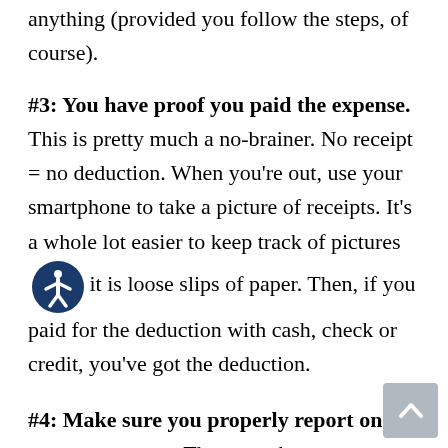anything (provided you follow the steps, of course).
#3: You have proof you paid the expense. This is pretty much a no-brainer. No receipt = no deduction. When you're out, use your smartphone to take a picture of receipts. It's a whole lot easier to keep track of pictures than it is loose slips of paper. Then, if you paid for the deduction with cash, check or credit, you've got the deduction.
#4: Make sure you properly report on your tax return. There are three steps to a